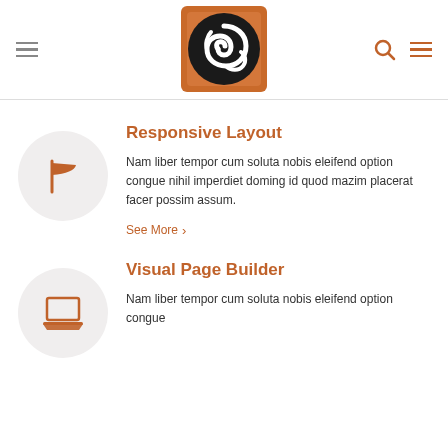Navigation header with logo, hamburger menu, search and menu icons
[Figure (logo): Orange square logo with black spiral/swirl abstract design]
Responsive Layout
Nam liber tempor cum soluta nobis eleifend option congue nihil imperdiet doming id quod mazim placerat facer possim assum.
See More >
Visual Page Builder
Nam liber tempor cum soluta nobis eleifend option congue